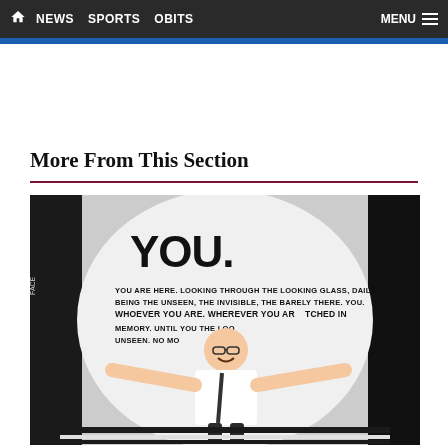HOME | NEWS | SPORTS | OBITS | MENU
More From This Section
[Figure (photo): A young man in a white t-shirt stands with arms outstretched in front of a large typographic wall mural. The mural contains bold text reading 'YOU.' and other text including 'LOOKING THROUGH THE LOOKING GLASS, DAILY', 'THE UNSEEN, THE INVISIBLE, THE BARELY THERE. YOU.', 'WHEREVER YOU ARE, WHEREVER YOU ARE ETCHED IN', 'MEMORY, UNTIL YOU THE LOOK', 'UNSEEN. NO MORE.']